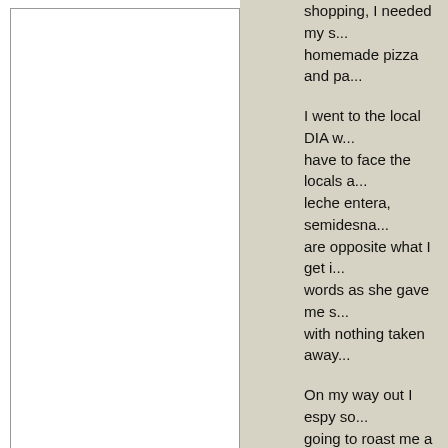[Figure (other): White rectangular panel with gray border on left side of page]
shopping, I needed my s... homemade pizza and pa...

I went to the local DIA w... have to face the locals a... leche entera, semidesnta... are opposite what I get i... words as she gave me s... with nothing taken away...

On my way out I espy so... going to roast me a chic...

Aha pollo quarters, pollo... wassat in real money ??...

Feeling well pleased at m... shops I rushed away wit... at the checkout, just in c... the trolley , that sort of t... bolsa's . I wagged my fi... pacify her enough to get... [smiley face]

Ok, the whole point of m... attentions. Seems that E... ENTERA. So much ENT... neck. And inside was its...

I think it will sit on the co...